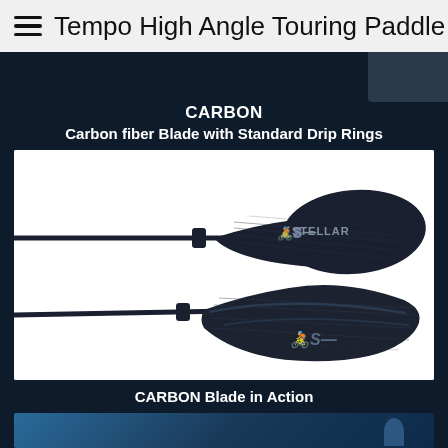Tempo High Angle Touring Paddle
CARBON
Carbon fiber Blade with Standard Drip Rings
[Figure (photo): Two carbon fiber kayak paddle blades shown against a white background. The top blade shows the front face with the Stellar brand logo. The bottom blade shows the back face of the carbon fiber blade. Both blades are connected to dark carbon fiber shafts.]
CARBON Blade in Action
[Figure (photo): Partial image at the bottom of the page showing a person in a blue shirt paddling a kayak on turquoise water.]